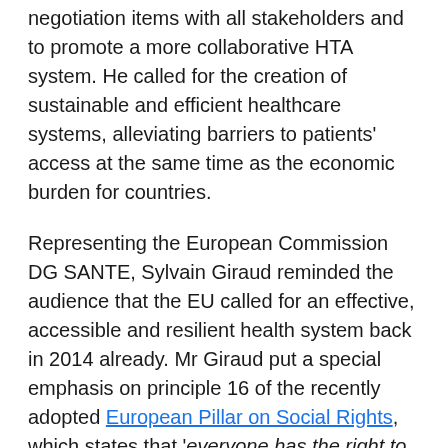negotiation items with all stakeholders and to promote a more collaborative HTA system. He called for the creation of sustainable and efficient healthcare systems, alleviating barriers to patients' access at the same time as the economic burden for countries.
Representing the European Commission DG SANTE, Sylvain Giraud reminded the audience that the EU called for an effective, accessible and resilient health system back in 2014 already. Mr Giraud put a special emphasis on principle 16 of the recently adopted European Pillar on Social Rights, which states that 'everyone has the right to timely access to affordable, preventive and curative health care of good quality'. "The European Social Pillar can be a powerful tool to achieve access, including universal health coverage," he concluded.
EPF Secretary General Nicola Bedlington seized the opportunity to present the EPF campaign on Access to Healthcare calling – in line with the UN Sustainable Development Goal (SDG) on Health – for Universal Health Coverage by 2030. She concluded her statement...